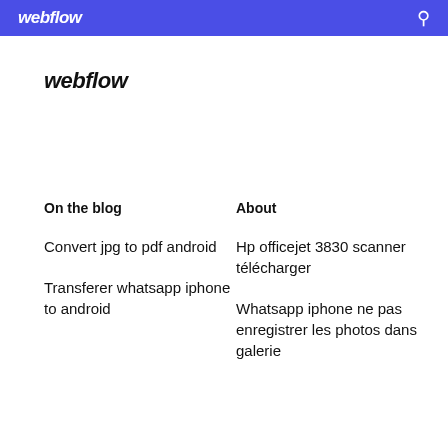webflow
webflow
On the blog
About
Convert jpg to pdf android
Hp officejet 3830 scanner télécharger
Transferer whatsapp iphone to android
Whatsapp iphone ne pas enregistrer les photos dans galerie